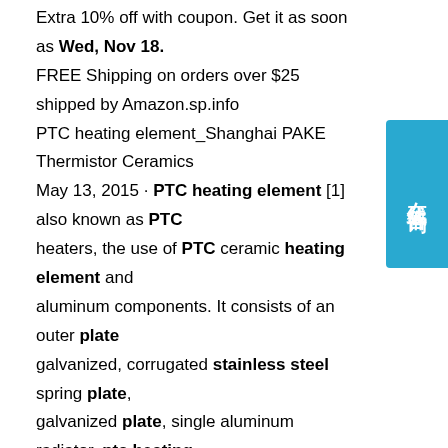Extra 10% off with coupon. Get it as soon as Wed, Nov 18. FREE Shipping on orders over $25 shipped by Amazon.sp.info PTC heating element_Shanghai PAKE Thermistor Ceramics May 13, 2015 · PTC heating element [1] also known as PTC heaters, the use of PTC ceramic heating element and aluminum components. It consists of an outer plate galvanized, corrugated stainless steel spring plate, galvanized plate, single aluminum radiator, ptc heating element, double aluminum fins, nickel-plated copper electrode terminals and pps electrode sheath …sp.info China Electric Stainless Steel Heating Element, Oven ...Stainless Steel tubular heating element, including SUS304. Normal steel tubular heating element. Other steel tubular heater , such as incoloy, inconel or titanium alloy. steel heating element with copper coated. Aluminum heating element. Infrared quartz heater infrared heating element. Copper heating element